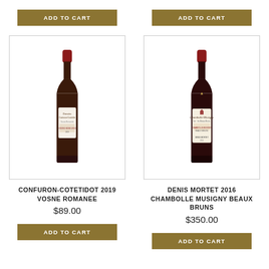[Figure (photo): Add to Cart button (gold/brown background, white text) for left product, top of page]
[Figure (photo): Add to Cart button (gold/brown background, white text) for right product, top of page]
[Figure (photo): Wine bottle photo: Confuron-Cotetidot 2019 Vosne Romanee, dark red wine bottle with white label, inside a bordered box]
[Figure (photo): Wine bottle photo: Denis Mortet 2016 Chambolle Musigny Beaux Bruns, dark red wine bottle with cream/white label, inside a bordered box]
CONFURON-COTETIDOT 2019 VOSNE ROMANEE
$89.00
DENIS MORTET 2016 CHAMBOLLE MUSIGNY BEAUX BRUNS
$350.00
[Figure (photo): Add to Cart button (gold/brown background, white text) for left product, bottom of page]
[Figure (photo): Add to Cart button (gold/brown background, white text) for right product, bottom of page]